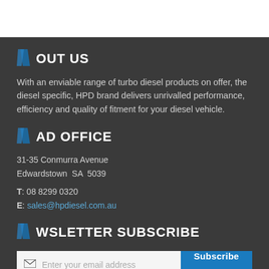ABOUT US
With an enviable range of turbo diesel products on offer, the diesel specific, HPD brand delivers unrivalled performance, efficiency and quality of fitment for your diesel vehicle.
HEAD OFFICE
31-35 Conmurra Avenue
Edwardstown  SA  5039
T: 08 8299 0320
E: sales@hpdiesel.com.au
NEWSLETTER SUBSCRIBE
Enter your email address  Subscribe